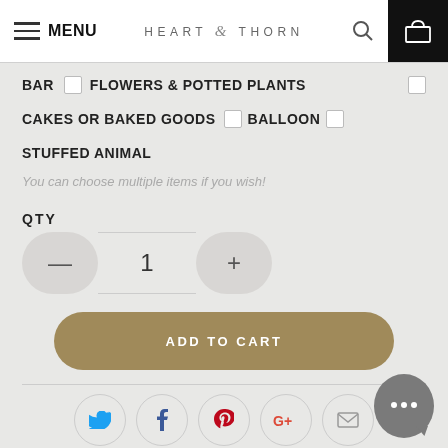MENU  HEART & THORN
BAR  [ ] FLOWERS & POTTED PLANTS  [ ]
CAKES OR BAKED GOODS  [ ] BALLOON  [ ]
STUFFED ANIMAL
You can choose multiple items if you wish!
QTY
1
ADD TO CART
[Figure (infographic): Social share icons row: Twitter (blue bird), Facebook (blue f), Pinterest (red P), Google+ (red G+), Email (envelope)]
[Figure (infographic): Chat support bubble icon with three dots, grey circular button at bottom right]